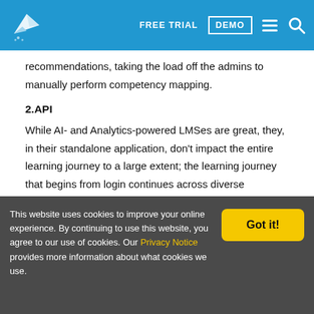FREE TRIAL | DEMO
recommendations, taking the load off the admins to manually perform competency mapping.
2.API
While AI- and Analytics-powered LMSes are great, they, in their standalone application, don't impact the entire learning journey to a large extent; the learning journey that begins from login continues across diverse applications, interfaces, systems
This website uses cookies to improve your online experience. By continuing to use this website, you agree to our use of cookies. Our Privacy Notice provides more information about what cookies we use.